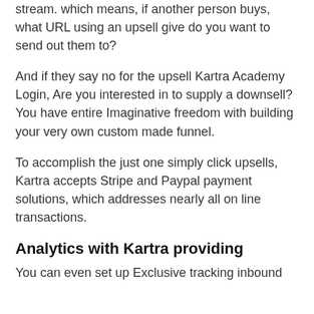stream. which means, if another person buys, what URL using an upsell give do you want to send out them to?
And if they say no for the upsell Kartra Academy Login, Are you interested in to supply a downsell? You have entire Imaginative freedom with building your very own custom made funnel.
To accomplish the just one simply click upsells, Kartra accepts Stripe and Paypal payment solutions, which addresses nearly all on line transactions.
Analytics with Kartra providing
You can even set up Exclusive tracking inbound